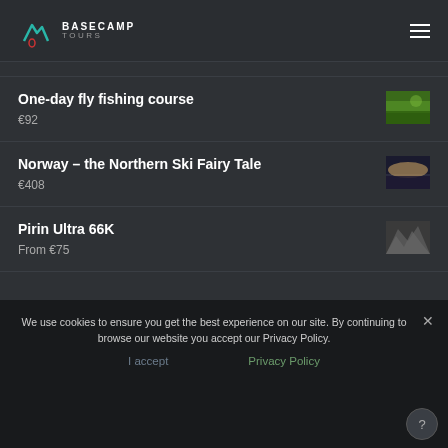[Figure (logo): Basecamp Tours logo with teal mountain/water icon and text BASECAMP TOURS]
One-day fly fishing course
€92
Norway – the Northern Ski Fairy Tale
€408
Pirin Ultra 66K
From €75
We use cookies to ensure you get the best experience on our site. By continuing to browse our website you accept our Privacy Policy.
I accept   Privacy Policy